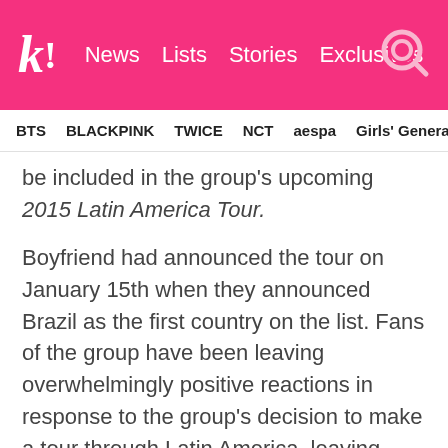k! News Lists Stories Exclusives
BTS BLACKPINK TWICE NCT aespa Girls' Generation
be included in the group's upcoming 2015 Latin America Tour.
Boyfriend had announced the tour on January 15th when they announced Brazil as the first country on the list. Fans of the group have been leaving overwhelmingly positive reactions in response to the group's decision to make a tour through Latin America, leaving comments of support, as well as photos of tickets that have already been purchased for the upcoming concerts.
The Mexico concert is scheduled to be held a